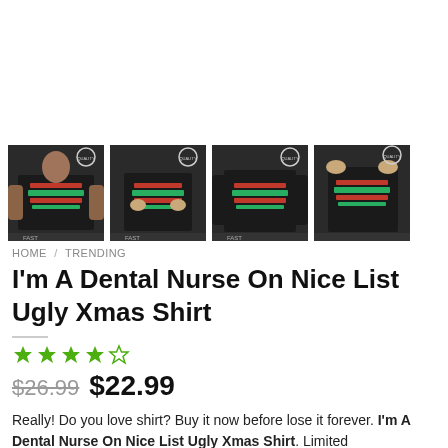[Figure (photo): Four thumbnail images of a black Christmas t-shirt with holiday text design, shown from different angles and on different models]
HOME / TRENDING
I'm A Dental Nurse On Nice List Ugly Xmas Shirt
[Figure (other): 4-star rating shown with filled green stars]
$26.99  $22.99
Really! Do you love shirt? Buy it now before lose it forever. I'm A Dental Nurse On Nice List Ugly Xmas Shirt. Limited